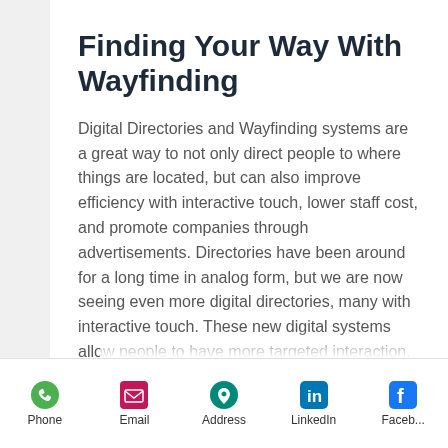Finding Your Way With Wayfinding
Digital Directories and Wayfinding systems are a great way to not only direct people to where things are located, but can also improve efficiency with interactive touch, lower staff cost, and promote companies through advertisements. Directories have been around for a long time in analog form, but we are now seeing even more digital directories, many with interactive touch. These new digital systems allow people to have more targeted interaction, including the ability to find
Phone | Email | Address | LinkedIn | Faceb...